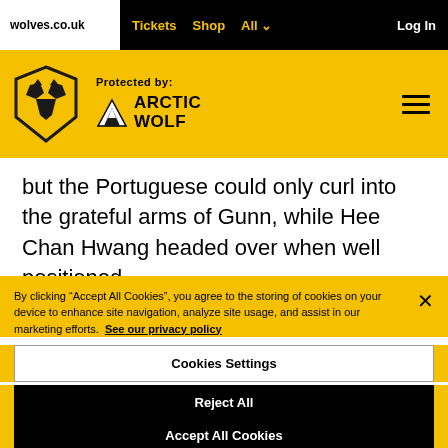wolves.co.uk  Tickets  Shop  All  Log In
[Figure (logo): Wolverhampton Wanderers wolves shield logo and Arctic Wolf 'Protected by: ARCTIC WOLF' branding on yellow header bar]
but the Portuguese could only curl into the grateful arms of Gunn, while Hee Chan Hwang headed over when well positioned
By clicking “Accept All Cookies”, you agree to the storing of cookies on your device to enhance site navigation, analyze site usage, and assist in our marketing efforts. See our privacy policy
Cookies Settings
Reject All
Accept All Cookies